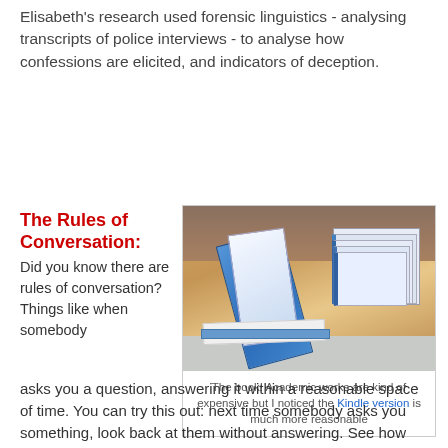Elisabeth's research used forensic linguistics - analysing transcripts of police interviews - to analyse how confessions are elicited, and indicators of deception.
The Rules of Conversation:
Did you know there are rules of conversation? Things like when somebody
[Figure (photo): Photo of a stack of academic books on a desk with metal shelving in the background. The books appear to be blue and white covered academic volumes.]
The book! Academic works are kind of expensive but I noticed the Kindle version is much more reasonable
asks you a question, answering it within a reasonable space of time. You can try this out: next time somebody asks you something, look back at them without answering. See how long it is before they get uncomfortable, and jump in with